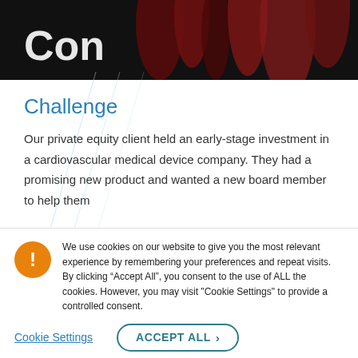[Figure (photo): Dark background hero image showing cardiovascular/medical imagery with dark red blood vessel structures visible at top]
Challenge
Our private equity client held an early-stage investment in a cardiovascular medical device company. They had a promising new product and wanted a new board member to help them
We use cookies on our website to give you the most relevant experience by remembering your preferences and repeat visits. By clicking “Accept All”, you consent to the use of ALL the cookies. However, you may visit "Cookie Settings" to provide a controlled consent.
Cookie Settings
ACCEPT ALL >